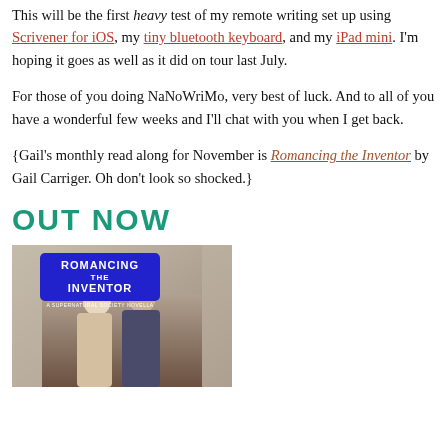This will be the first heavy test of my remote writing set up using Scrivener for iOS, my tiny bluetooth keyboard, and my iPad mini. I'm hoping it goes as well as it did on tour last July.
For those of you doing NaNoWriMo, very best of luck. And to all of you have a wonderful few weeks and I'll chat with you when I get back.
{Gail's monthly read along for November is Romancing the Inventor by Gail Carriger. Oh don't look so shocked.}
OUT NOW
[Figure (illustration): Book cover of 'Romancing the Inventor: A Supernatural Society Novella' showing two figures about to kiss, with a blue badge-style title overlay]